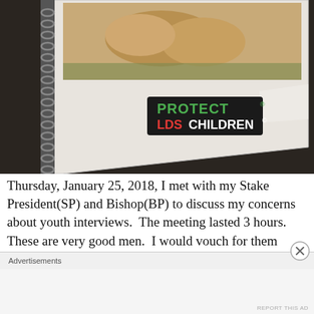[Figure (photo): A spiral-bound notebook or booklet photographed at an angle on a dark surface. The cover shows a photo of lions at the top portion, and a sticker reading PROTECT LDS CHILDREN in green, red, and white text on a dark background is affixed to the lower center of the cover. A spiral binding is visible on the left side.]
Thursday, January 25, 2018, I met with my Stake President(SP) and Bishop(BP) to discuss my concerns about youth interviews.  The meeting lasted 3 hours.  These are very good men.  I would vouch for them anywhere.  The Stake President is
Advertisements